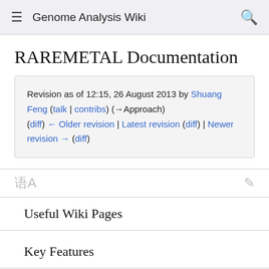Genome Analysis Wiki
RAREMETAL Documentation
Revision as of 12:15, 26 August 2013 by Shuang Feng (talk | contribs) (→Approach)
(diff) ← Older revision | Latest revision (diff) | Newer revision → (diff)
Useful Wiki Pages
Key Features